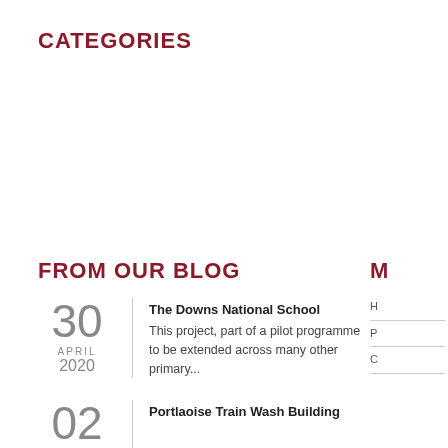CATEGORIES
FROM OUR BLOG
M
30 APRIL 2020 | The Downs National School - This project, part of a pilot programme to be extended across many other primary...
02 | Portlaoise Train Wash Building